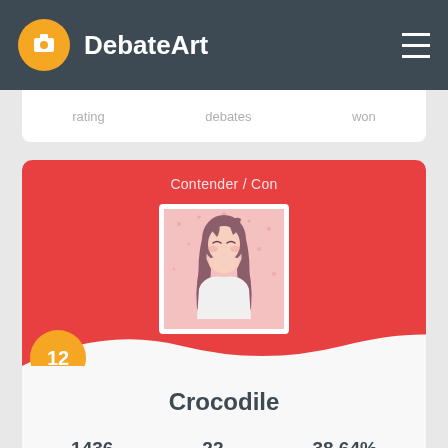DebateArt
rating  debates  won
Contender / Con
[Figure (illustration): Anime-style profile avatar: girl with long hair holding something, pink starry background]
12
Crocodile
1436 rating  22 debates  38.64% won